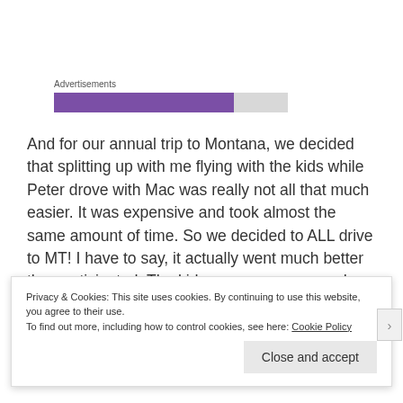Advertisements
And for our annual trip to Montana, we decided that splitting up with me flying with the kids while Peter drove with Mac was really not all that much easier. It was expensive and took almost the same amount of time. So we decided to ALL drive to MT! I have to say, it actually went much better than anticipated. The kids were awesome and we made it in two days. No one puked, we
Privacy & Cookies: This site uses cookies. By continuing to use this website, you agree to their use.
To find out more, including how to control cookies, see here: Cookie Policy
Close and accept